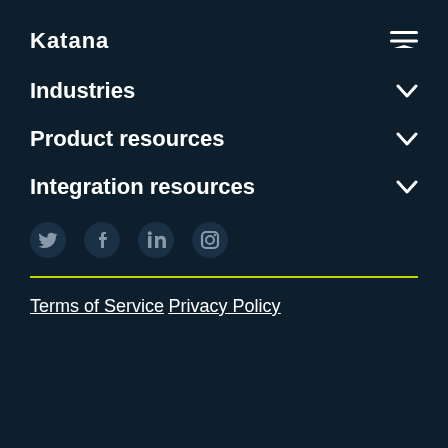Katana
Industries
Product resources
Integration resources
[Figure (infographic): Social media icons: Twitter, Facebook, LinkedIn, Instagram]
Terms of Service
Privacy Policy